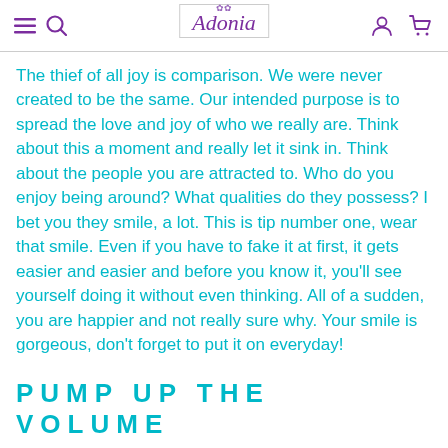Adonia
The thief of all joy is comparison. We were never created to be the same. Our intended purpose is to spread the love and joy of who we really are. Think about this a moment and really let it sink in. Think about the people you are attracted to. Who do you enjoy being around? What qualities do they possess? I bet you they smile, a lot. This is tip number one, wear that smile. Even if you have to fake it at first, it gets easier and easier and before you know it, you'll see yourself doing it without even thinking. All of a sudden, you are happier and not really sure why. Your smile is gorgeous, don't forget to put it on everyday!
PUMP UP THE VOLUME